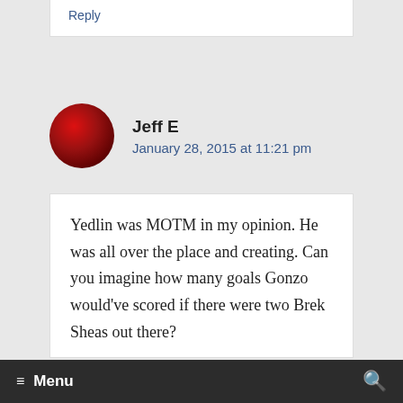Reply
Jeff E
January 28, 2015 at 11:21 pm
Yedlin was MOTM in my opinion. He was all over the place and creating. Can you imagine how many goals Gonzo would've scored if there were two Brek Sheas out there?
≡ Menu